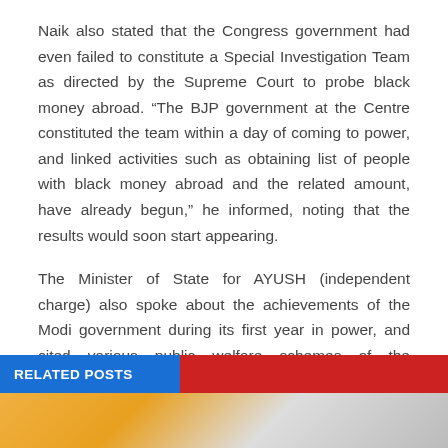Naik also stated that the Congress government had even failed to constitute a Special Investigation Team as directed by the Supreme Court to probe black money abroad. “The BJP government at the Centre constituted the team within a day of coming to power, and linked activities such as obtaining list of people with black money abroad and the related amount, have already begun,” he informed, noting that the results would soon start appearing.
The Minister of State for AYUSH (independent charge) also spoke about the achievements of the Modi government during its first year in power, and cited various public welfare schemes of the government. A report of the performance of the Modi government was also released on the occasion.
Source: Goa News
RELATED POSTS
[Figure (photo): Bottom portion of a photo partially visible at the bottom of the page]